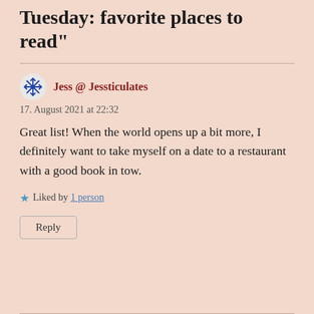Tuesday: favorite places to read"
Jess @ Jessticulates
17. August 2021 at 22:32
Great list! When the world opens up a bit more, I definitely want to take myself on a date to a restaurant with a good book in tow.
Liked by 1 person
Reply